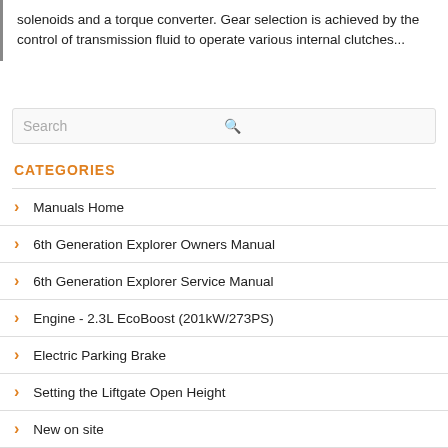solenoids and a torque converter. Gear selection is achieved by the control of transmission fluid to operate various internal clutches...
Search
CATEGORIES
Manuals Home
6th Generation Explorer Owners Manual
6th Generation Explorer Service Manual
Engine - 2.3L EcoBoost (201kW/273PS)
Electric Parking Brake
Setting the Liftgate Open Height
New on site
Most important about car